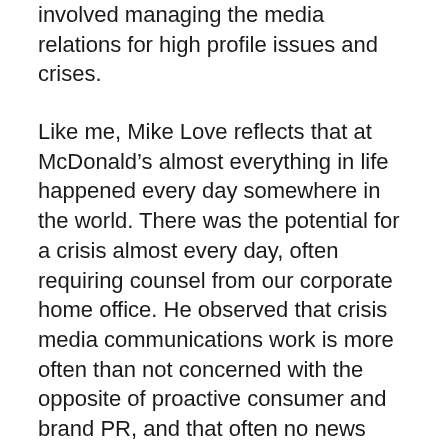involved managing the media relations for high profile issues and crises.
Like me, Mike Love reflects that at McDonald's almost everything in life happened every day somewhere in the world. There was the potential for a crisis almost every day, often requiring counsel from our corporate home office. He observed that crisis media communications work is more often than not concerned with the opposite of proactive consumer and brand PR, and that often no news really is often good news.
Another former associate of mine, Walt Riker, who succeeded me as global spokesperson for McDonald's, was a former newsman who went on to become, for 13 years, press secretary to Bob Dole, long time Senate majority Leader and one-time Presidential contender. Walt